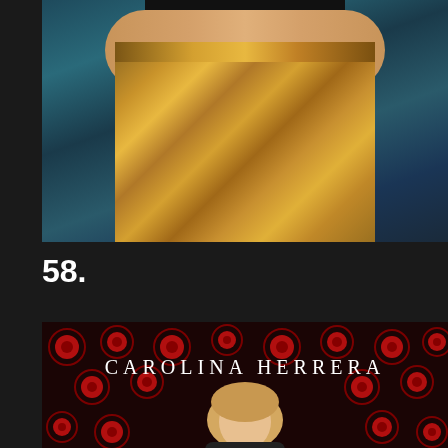[Figure (photo): Photo of person wearing black top and metallic gold/bronze high-waisted pants, against a dark teal background, arms crossed]
58.
[Figure (photo): Photo of a blonde woman standing in front of a Carolina Herrera branded backdrop with red roses pattern, the text CAROLINA HERRERA visible behind her]